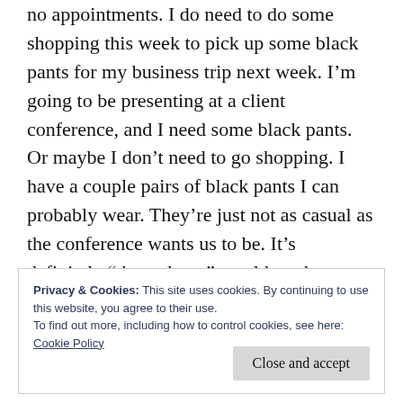no appointments. I do need to do some shopping this week to pick up some black pants for my business trip next week. I’m going to be presenting at a client conference, and I need some black pants. Or maybe I don’t need to go shopping. I have a couple pairs of black pants I can probably wear. They’re just not as casual as the conference wants us to be. It’s definitely “dress down” — although we still need to present in a professional manner.
Privacy & Cookies: This site uses cookies. By continuing to use this website, you agree to their use.
To find out more, including how to control cookies, see here:
Cookie Policy
Close and accept